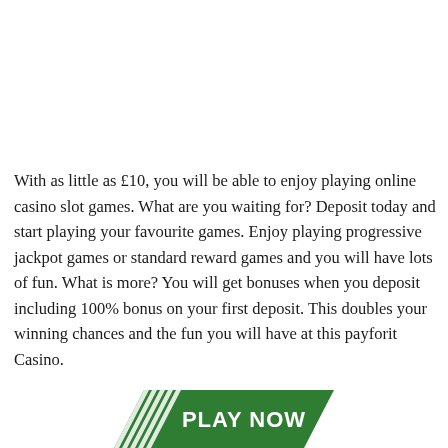With as little as £10, you will be able to enjoy playing online casino slot games. What are you waiting for? Deposit today and start playing your favourite games. Enjoy playing progressive jackpot games or standard reward games and you will have lots of fun. What is more? You will get bonuses when you deposit including 100% bonus on your first deposit. This doubles your winning chances and the fun you will have at this payforit Casino.
[Figure (other): A green 'PLAY NOW' button with diagonal white stripes on the left side, rendered as a banner/button graphic at the bottom of the page.]